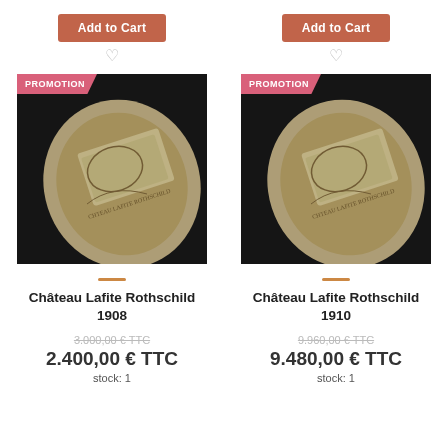[Figure (photo): Add to Cart button for first product (Château Lafite Rothschild 1908)]
[Figure (photo): Add to Cart button for second product (Château Lafite Rothschild 1910)]
[Figure (photo): Wine bottle label photo with PROMOTION badge - Château Lafite Rothschild 1908]
[Figure (photo): Wine bottle label photo with PROMOTION badge - Château Lafite Rothschild 1910]
Château Lafite Rothschild 1908
Château Lafite Rothschild 1910
3.000,00 € TTC
9.960,00 € TTC
2.400,00 € TTC
9.480,00 € TTC
stock: 1
stock: 1